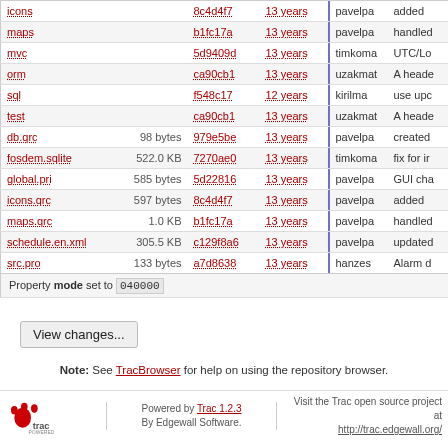| Name | Size | Rev | Age | Author | Last Change |
| --- | --- | --- | --- | --- | --- |
| icons |  | 8c4d4f7 | 13 years | pavelpa | added |
| maps |  | b1fc17a | 13 years | pavelpa | handled |
| mvc |  | 5d9409d | 13 years | timkoma | UTC/Lo |
| orm |  | ca90cb1 | 13 years | uzakmat | A heade |
| sql |  | f548c17 | 12 years | kirilma | use upc |
| test |  | ca90cb1 | 13 years | uzakmat | A heade |
| db.qrc | 98 bytes | 979e5be | 13 years | pavelpa | created |
| fosdem.sqlite | 522.0 KB | 7270ae0 | 13 years | timkoma | fix for ir |
| global.pri | 585 bytes | 5d22816 | 13 years | pavelpa | GUI cha |
| icons.qrc | 597 bytes | 8c4d4f7 | 13 years | pavelpa | added |
| maps.qrc | 1.0 KB | b1fc17a | 13 years | pavelpa | handled |
| schedule.en.xml | 305.5 KB | c129f8a6 | 13 years | pavelpa | updated |
| src.pro | 133 bytes | a7d8638 | 13 years | hanzes | Alarm d |
Property mode set to 040000
View changes...
Note: See TracBrowser for help on using the repository browser.
Powered by Trac 1.2.3 By Edgewall Software. Visit the Trac open source project at http://trac.edgewall.org/